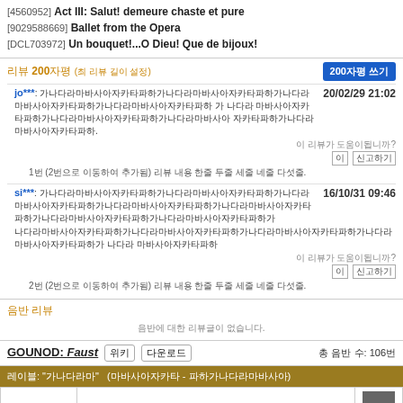[4560952] Act III: Salut! demeure chaste et pure
[9029588669] Ballet from the Opera
[DCL703972] Un bouquet!...O Dieu! Que de bijoux!
리뷰 200자평 (최대 리뷰 길이 설정)
jo***: (Korean text review) 20/02/29 21:02
1번 (2번으로 이동하여 추가됨) 리뷰 내용 한줄 두줄 세줄 네줄 다섯줄 여섯줄.
si***: (Korean text review) 16/10/31 09:46
2번 (2번으로 이동하여 추가됨) 리뷰 내용 한줄 두줄 세줄 네줄 다섯줄 여섯줄.
음반 리뷰
음반에 대한 리뷰글이 없습니다.
GOUNOD: Faust 위키 다운로드 총 음반 수: 1060
레이블: "가나다라" (마바사아자 - 카타파하가나)
| 날짜 | 지휘자 | 이미지 |
| --- | --- | --- |
| 1940/04/06 | Wilfrid Pelletier |  |
| 1944/04/15 | Sir Thomas Beecham |  |
| 1947/11- | Thomas Beecham |  |